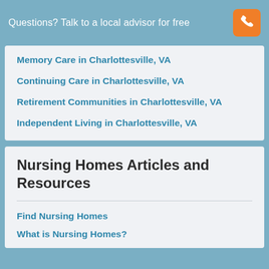Questions? Talk to a local advisor for free
Memory Care in Charlottesville, VA
Continuing Care in Charlottesville, VA
Retirement Communities in Charlottesville, VA
Independent Living in Charlottesville, VA
Nursing Homes Articles and Resources
Find Nursing Homes
What is Nursing Homes?